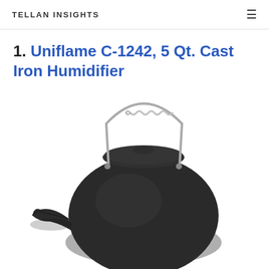TELLAN INSIGHTS
1. Uniflame C-1242, 5 Qt. Cast Iron Humidifier
[Figure (photo): Black cast iron humidifier kettle (Uniflame C-1242) with a round body, small spout on the left, a circular lid on top, and a coil-wrapped metal bail handle arching over the top. The kettle is photographed on a white background.]